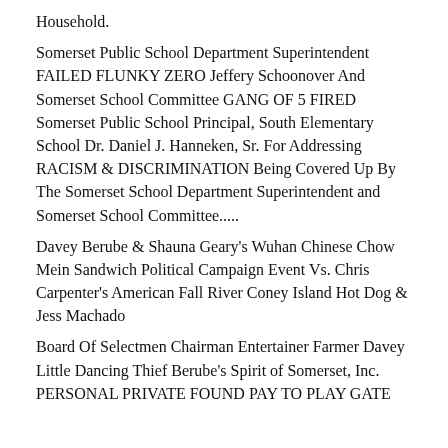Household.
Somerset Public School Department Superintendent FAILED FLUNKY ZERO Jeffery Schoonover And Somerset School Committee GANG OF 5 FIRED Somerset Public School Principal, South Elementary School Dr. Daniel J. Hanneken, Sr. For Addressing RACISM & DISCRIMINATION Being Covered Up By The Somerset School Department Superintendent and Somerset School Committee.....
Davey Berube & Shauna Geary's Wuhan Chinese Chow Mein Sandwich Political Campaign Event Vs. Chris Carpenter's American Fall River Coney Island Hot Dog & Jess Machado
Board Of Selectmen Chairman Entertainer Farmer Davey Little Dancing Thief Berube's Spirit of Somerset, Inc. PERSONAL PRIVATE FOUND PAY TO PLAY GATE